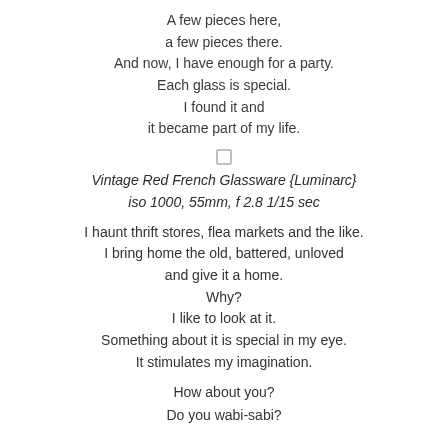A few pieces here,
a few pieces there.
And now, I have enough for a party.
Each glass is special.
I found it and
it became part of my life.
[Figure (illustration): Small square checkbox or icon]
Vintage Red French Glassware {Luminarc}
iso 1000, 55mm, f 2.8 1/15 sec
I haunt thrift stores, flea markets and the like.
I bring home the old, battered, unloved
and give it a home.
Why?
I like to look at it.
Something about it is special in my eye.
It stimulates my imagination.
How about you?
Do you wabi-sabi?